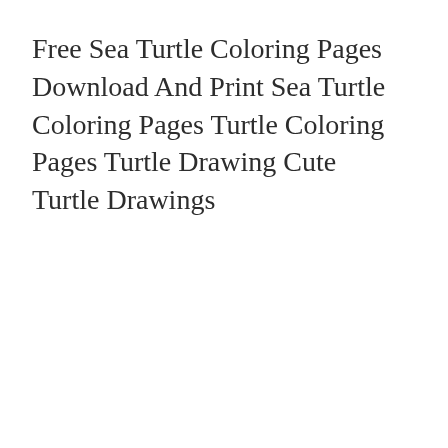Free Sea Turtle Coloring Pages Download And Print Sea Turtle Coloring Pages Turtle Coloring Pages Turtle Drawing Cute Turtle Drawings